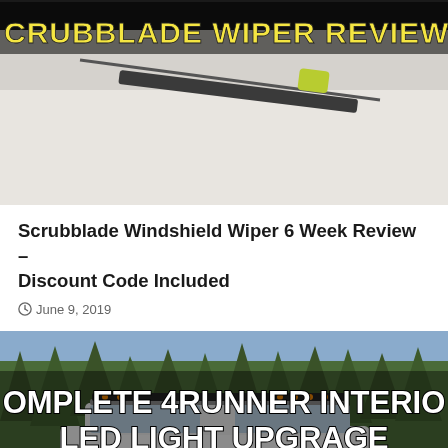[Figure (photo): Scrubblade windshield wiper review thumbnail image with yellow text banner on car hood]
Scrubblade Windshield Wiper 6 Week Review – Discount Code Included
June 9, 2019
[Figure (photo): Complete 4Runner Interior LED Light Upgrade thumbnail showing SUV in forest with text overlay]